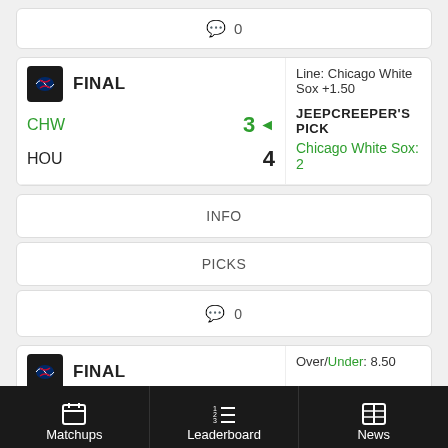💬 0
FINAL | Line: Chicago White Sox +1.50 | CHW 3 ◄ | HOU 4 | JEEPCREEPER'S PICK | Chicago White Sox: 2
INFO
PICKS
💬 0
FINAL | Over/Under: 8.50 | CHW 3
Matchups  Leaderboard  News